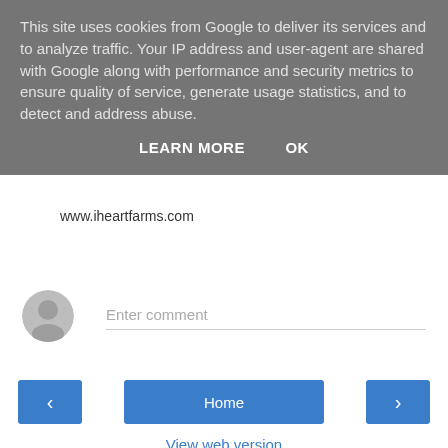This site uses cookies from Google to deliver its services and to analyze traffic. Your IP address and user-agent are shared with Google along with performance and security metrics to ensure quality of service, generate usage statistics, and to detect and address abuse.
LEARN MORE    OK
www.iheartfarms.com
Reply
[Figure (other): User avatar placeholder icon — grey circle with silhouette of a person]
Enter comment
< (previous navigation button)  Home  > (next navigation button)
View web version
Powered by Blogger.